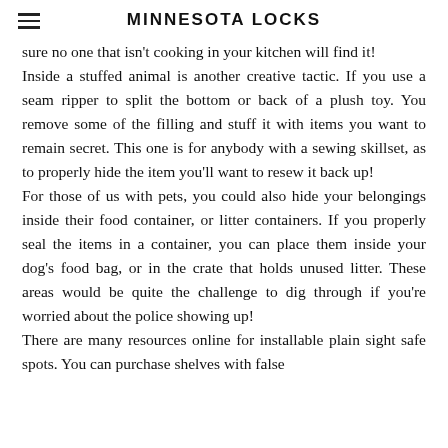MINNESOTA LOCKS
sure no one that isn't cooking in your kitchen will find it! Inside a stuffed animal is another creative tactic. If you use a seam ripper to split the bottom or back of a plush toy. You remove some of the filling and stuff it with items you want to remain secret. This one is for anybody with a sewing skillset, as to properly hide the item you'll want to resew it back up! For those of us with pets, you could also hide your belongings inside their food container, or litter containers. If you properly seal the items in a container, you can place them inside your dog's food bag, or in the crate that holds unused litter. These areas would be quite the challenge to dig through if you're worried about the police showing up! There are many resources online for installable plain sight safe spots. You can purchase shelves with false